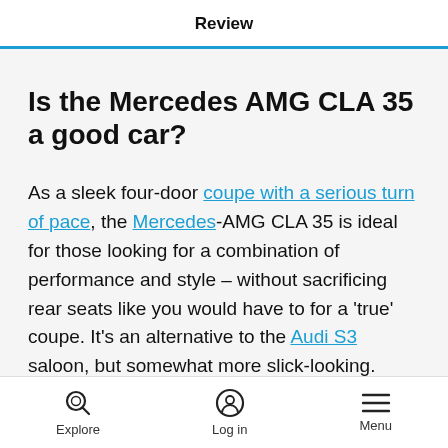Review
Is the Mercedes AMG CLA 35 a good car?
As a sleek four-door coupe with a serious turn of pace, the Mercedes-AMG CLA 35 is ideal for those looking for a combination of performance and style – without sacrificing rear seats like you would have to for a 'true' coupe. It's an alternative to the Audi S3 saloon, but somewhat more slick-looking.
Explore  Log in  Menu